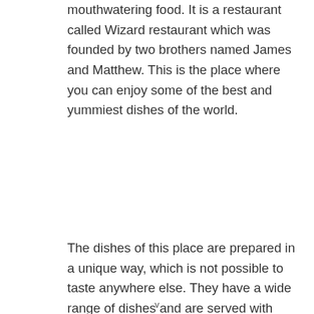mouthwatering food. It is a restaurant called Wizard restaurant which was founded by two brothers named James and Matthew. This is the place where you can enjoy some of the best and yummiest dishes of the world.
The dishes of this place are prepared in a unique way, which is not possible to taste anywhere else. They have a wide range of dishes and are served with delicious side dishes. They offer dishes from all over the world like Italian, Indian, Japanese and Mediterranean.
v